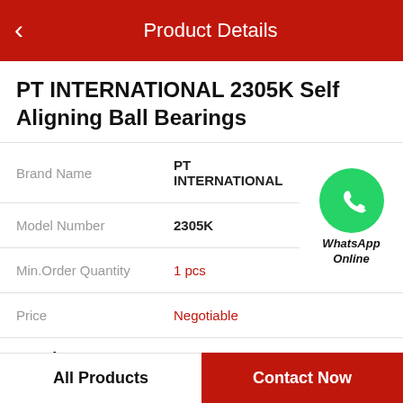Product Details
PT INTERNATIONAL 2305K Self Aligning Ball Bearings
|  |  |
| --- | --- |
| Brand Name | PT INTERNATIONAL |
| Model Number | 2305K |
| Min.Order Quantity | 1 pcs |
| Price | Negotiable |
[Figure (logo): WhatsApp green circle icon with phone handset, labeled WhatsApp Online]
Product Features
All Products    Contact Now